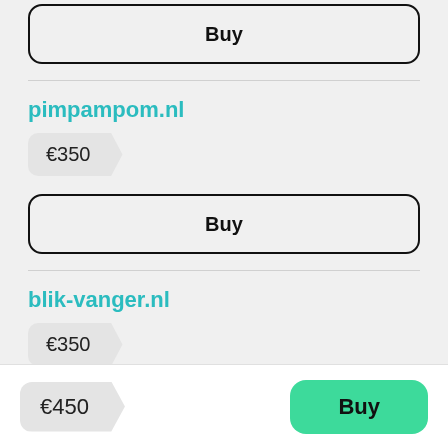[Figure (screenshot): Buy button (top, partially visible) with black border and rounded corners]
pimpampom.nl
€350
[Figure (screenshot): Buy button with black border and rounded corners]
blik-vanger.nl
€350
[Figure (screenshot): Partial Buy button at bottom of section]
€450
[Figure (screenshot): Green Buy button in bottom bar]